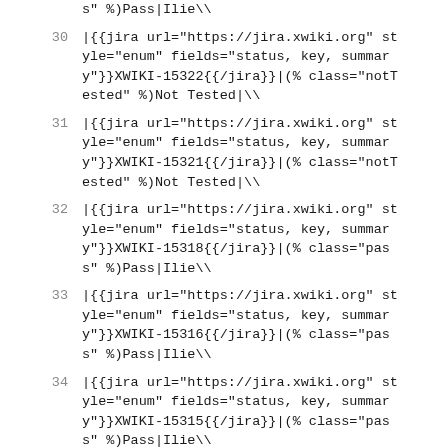s" %)Pass|Ilie\\
30  |{{jira url="https://jira.xwiki.org" style="enum" fields="status, key, summary"}}XWIKI-15322{{/jira}}|(% class="notTested" %)Not Tested|\\
31  |{{jira url="https://jira.xwiki.org" style="enum" fields="status, key, summary"}}XWIKI-15321{{/jira}}|(% class="notTested" %)Not Tested|\\
32  |{{jira url="https://jira.xwiki.org" style="enum" fields="status, key, summary"}}XWIKI-15318{{/jira}}|(% class="pass" %)Pass|Ilie\\
33  |{{jira url="https://jira.xwiki.org" style="enum" fields="status, key, summary"}}XWIKI-15316{{/jira}}|(% class="pass" %)Pass|Ilie\\
34  |{{jira url="https://jira.xwiki.org" style="enum" fields="status, key, summary"}}XWIKI-15315{{/jira}}|(% class="pass" %)Pass|Ilie\\
35  |{{jira url="https://jira.xwiki.org" style="enum" fields="status, key, summar